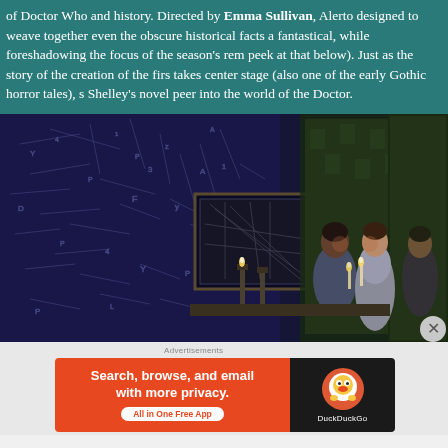of Doctor Who and history. Directed by Emma Sullivan, Alerto designed to weave together even the obscure historical facts a fantastical, while foreshadowing the focus of the season's rem peek at that below). Just as the story of the creation of the firs takes center stage (also one of the early Gothic horror tales), s Shelley's novel peer into the world of the Doctor.
[Figure (photo): A theatrical stage photo with blue/purple dramatic lighting. Three actors stand in a room with walls covered in handwritten scribbles and notes. Two candles are lit. One actor on the left in a denim jacket holds a candle, a woman in a white period dress holds a candle in the center-right, and a man in period costume stands at the far right.]
[Figure (screenshot): Advertisement banner for DuckDuckGo app. Left side is orange/red with text 'Search, browse, and email with more privacy. All in One Free App'. Right side is dark/black with DuckDuckGo logo and text.]